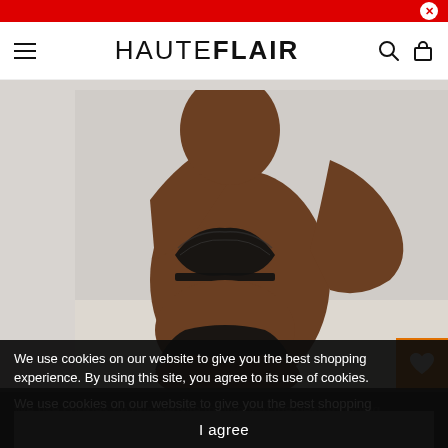HAUTEFLAIR navigation bar with hamburger menu, logo, search and bag icons
[Figure (photo): A dark-skinned woman wearing a black lace bra and black underwear, seated against a light grey background. The image is cropped to show mid-torso area. An orange heart/wishlist button appears at the bottom right of the image.]
BUY 1 BRA, GET 1 BRA FREE
SHOP NOW
We use cookies on our website to give you the best shopping experience. By using this site, you agree to its use of cookies.
I agree